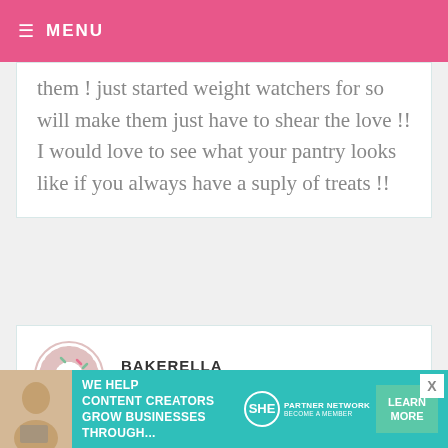MENU
them ! just started weight watchers for so will make them just have to shear the love !! I would love to see what your pantry looks like if you always have a suply of treats !!
BAKERELLA — APRIL 17, 2012 @ 1:06 AM REPLY
Lauren – Your brownie photo was so cute!

Erica – sure

Krysta – I like the way you work
[Figure (infographic): SHE Partner Network advertisement banner: We help content creators grow businesses through... Learn More / Become a Member]